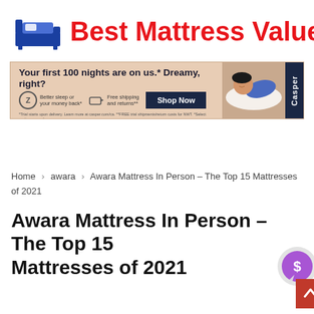[Figure (logo): Best Mattress Value logo with blue bed icon and red bold text]
[Figure (infographic): Casper mattress advertisement banner: 'Your first 100 nights are on us. Dreamy, right?' with Shop Now button, sleep icons, and person sleeping on pillow image]
Home > awara > Awara Mattress In Person – The Top 15 Mattresses of 2021
Awara Mattress In Person – The Top 15 Mattresses of 2021